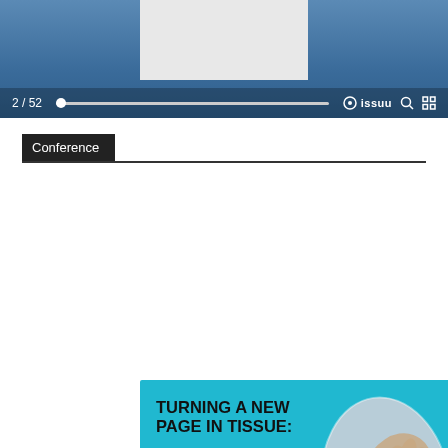[Figure (screenshot): Blue media player bar showing page 2/52, a slider, Issuu logo, search and fullscreen icons, with a white/grey card area above]
Conference
[Figure (illustration): TWM Tissue World Magazine advertisement with teal background. Bold text: TURNING A NEW PAGE IN TISSUE: THE ROUTE MAP FOR A RESHAPED WORLD. Oval photo of hand on machinery. Logo TWM and Virtual Conference 22-23 September 2021.]